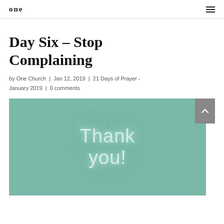one
Day Six – Stop Complaining
by One Church | Jan 12, 2019 | 21 Days of Prayer - January 2019 | 0 comments
[Figure (photo): Neon 'Thank you!' sign glowing on a teal/mint green wall]